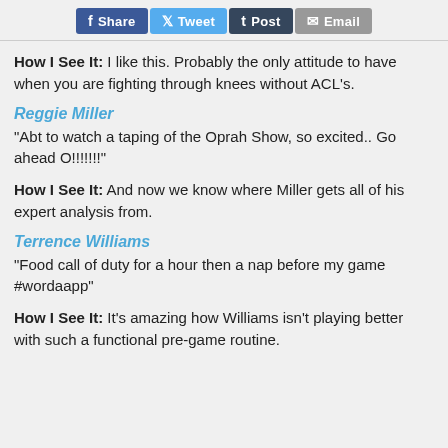Facebook Share | Twitter Tweet | Tumblr Post | Email
How I See It: I like this. Probably the only attitude to have when you are fighting through knees without ACL's.
Reggie Miller
"Abt to watch a taping of the Oprah Show, so excited.. Go ahead O!!!!!!!"
How I See It: And now we know where Miller gets all of his expert analysis from.
Terrence Williams
"Food call of duty for a hour then a nap before my game #wordaapp"
How I See It: It's amazing how Williams isn't playing better with such a functional pre-game routine.